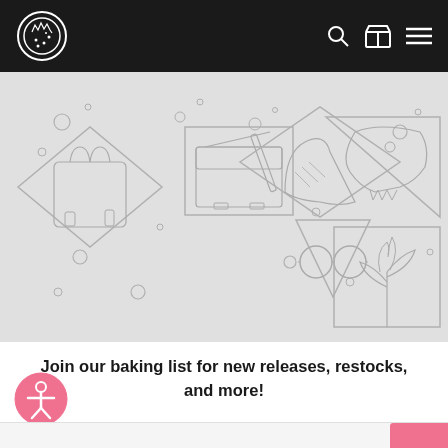[Figure (logo): Cookie/dinosaur logo in white circle on dark header]
[Figure (illustration): Hero banner with line-art illustrations of various items (handbag, messenger bag, boot/shoe, dinosaur, glasses, plant) arranged in diamond and triangle shapes on light gray background]
Join our baking list for new releases, restocks, and more!
[Figure (illustration): Pink circular accessibility icon button (person with circle) in bottom left corner]
[Figure (other): Email signup input bar at bottom with pink submit button on right]